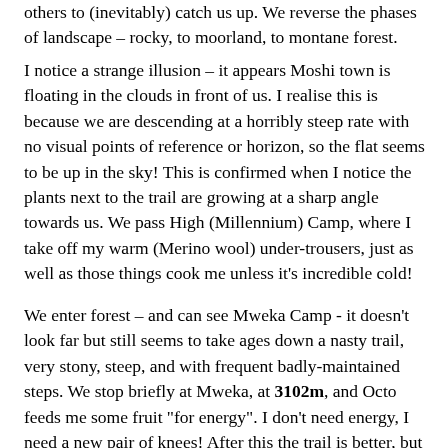others to (inevitably) catch us up. We reverse the phases of landscape – rocky, to moorland, to montane forest.
I notice a strange illusion – it appears Moshi town is floating in the clouds in front of us. I realise this is because we are descending at a horribly steep rate with no visual points of reference or horizon, so the flat seems to be up in the sky! This is confirmed when I notice the plants next to the trail are growing at a sharp angle towards us. We pass High (Millennium) Camp, where I take off my warm (Merino wool) under-trousers, just as well as those things cook me unless it's incredible cold!
We enter forest – and can see Mweka Camp - it doesn't look far but still seems to take ages down a nasty trail, very stony, steep, and with frequent badly-maintained steps. We stop briefly at Mweka, at 3102m, and Octo feeds me some fruit "for energy". I don't need energy, I need a new pair of knees! After this the trail is better, but involves lots of steps. I'm given a good head-start on my own, but it doesn't last long. My knees are really starting to suffer now, after what has been 2800m descent. Only another 1300m to go! I'm trying not to bend my knees, but it's not easy with several thousand